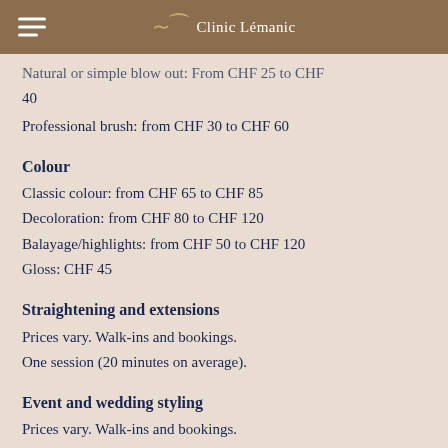Clinic Lémanic
Natural or simple blow out: From CHF 25 to CHF 40
Professional brush: from CHF 30 to CHF 60
Colour
Classic colour: from CHF 65 to CHF 85
Decoloration: from CHF 80 to CHF 120
Balayage/highlights: from CHF 50 to CHF 120
Gloss: CHF 45
Straightening and extensions
Prices vary. Walk-ins and bookings.
One session (20 minutes on average).
Event and wedding styling
Prices vary. Walk-ins and bookings.
One session (length of appointment varies).